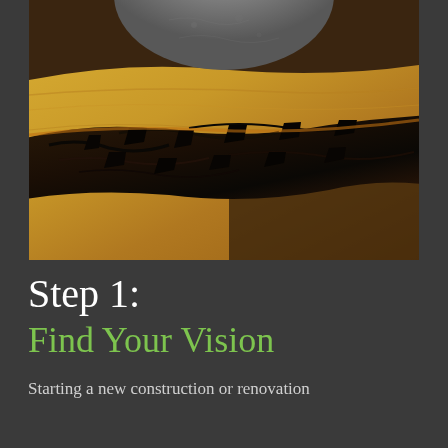[Figure (photo): Close-up macro photograph of a live-edge wood slab showing natural bark edge with dark charred/rough texture contrasting against warm golden-honey toned wood grain, with a rough stone or rock object partially visible at top]
Step 1:
Find Your Vision
Starting a new construction or renovation